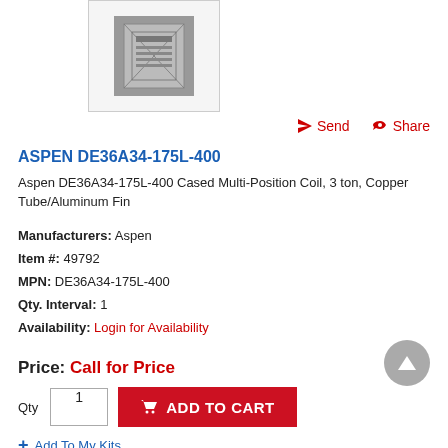[Figure (photo): Product thumbnail image of Aspen DE36A34-175L-400 Cased Multi-Position Coil shown in a bordered box]
Send   Share
ASPEN DE36A34-175L-400
Aspen DE36A34-175L-400 Cased Multi-Position Coil, 3 ton, Copper Tube/Aluminum Fin
Manufacturers: Aspen
Item #: 49792
MPN: DE36A34-175L-400
Qty. Interval: 1
Availability: Login for Availability
Price: Call for Price
Qty  1  ADD TO CART
+ Add To My Kits